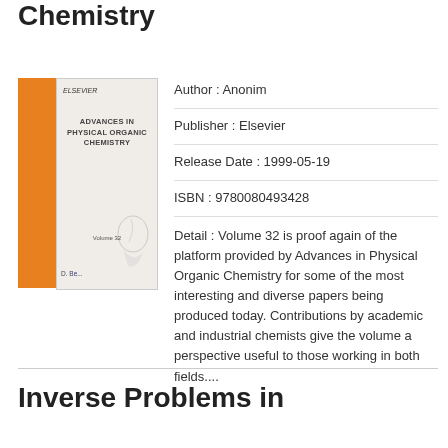Chemistry
[Figure (illustration): Book cover of Advances in Physical Organic Chemistry, Volume 32, published by Elsevier. Orange spine on the left, light beige cover with title text and decorative flourish.]
Author : Anonim
Publisher : Elsevier
Release Date : 1999-05-19
ISBN : 9780080493428
Detail : Volume 32 is proof again of the platform provided by Advances in Physical Organic Chemistry for some of the most interesting and diverse papers being produced today. Contributions by academic and industrial chemists give the volume a perspective useful to those working in both fields....
Inverse Problems in